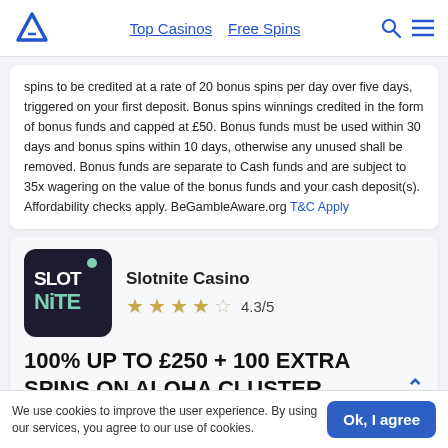Top Casinos  Free Spins
spins to be credited at a rate of 20 bonus spins per day over five days, triggered on your first deposit. Bonus spins winnings credited in the form of bonus funds and capped at £50. Bonus funds must be used within 30 days and bonus spins within 10 days, otherwise any unused shall be removed. Bonus funds are separate to Cash funds and are subject to 35x wagering on the value of the bonus funds and your cash deposit(s). Affordability checks apply. BeGambleAware.org T&C Apply
[Figure (logo): Slotnite Casino logo - dark background with SLOT NITE text in stylized green/white letters]
Slotnite Casino
4.3/5
100% UP TO £250 + 100 EXTRA SPINS ON ALOHA CLUSTER PAYS
We use cookies to improve the user experience. By using our services, you agree to our use of cookies.